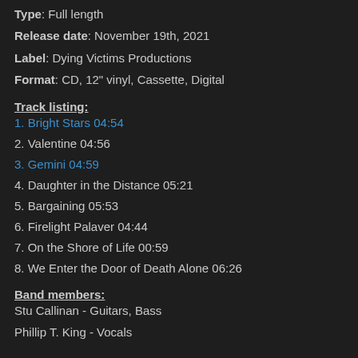Type: Full length
Release date: November 19th, 2021
Label: Dying Victims Productions
Format: CD, 12" vinyl, Cassette, Digital
Track listing:
1. Bright Stars 04:54
2. Valentine 04:56
3. Gemini 04:59
4. Daughter in the Distance 05:21
5. Bargaining 05:53
6. Firelight Palaver 04:44
7. On the Shore of Life 00:59
8. We Enter the Door of Death Alone 06:26
Band members:
Stu Callinan - Guitars, Bass
Phillip T. King - Vocals